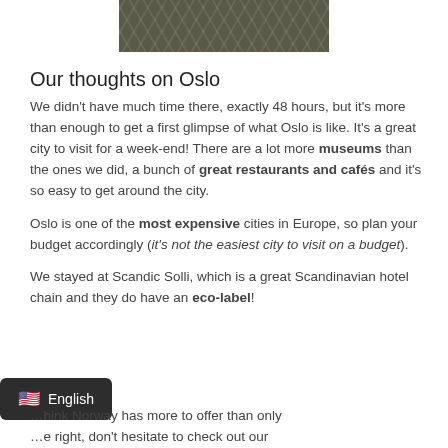[Figure (photo): Partial top view of a photo showing a dark textured surface with light geometric/cracked pattern, likely a close-up of a natural or architectural surface in Oslo]
Our thoughts on Oslo
We didn't have much time there, exactly 48 hours, but it's more than enough to get a first glimpse of what Oslo is like. It's a great city to visit for a week-end! There are a lot more museums than the ones we did, a bunch of great restaurants and cafés and it's so easy to get around the city.
Oslo is one of the most expensive cities in Europe, so plan your budget accordingly (it's not the easiest city to visit on a budget).
We stayed at Scandic Solli, which is a great Scandinavian hotel chain and they do have an eco-label!
…hink Norway has more to offer than only…e right, don't hesitate to check out our